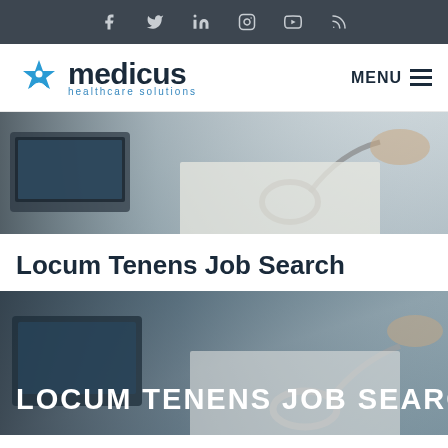Social media icons: facebook, twitter, linkedin, instagram, youtube, rss
[Figure (logo): Medicus Healthcare Solutions logo with star-of-life icon, company name and tagline, plus MENU hamburger navigation]
[Figure (photo): Close-up photo of a stethoscope on medical documents with a tablet and person's hands in background]
Locum Tenens Job Search
[Figure (photo): Hero banner image showing medical scene with stethoscope and documents, overlaid with text LOCUM TENENS JOB SEARCH in large white bold letters]